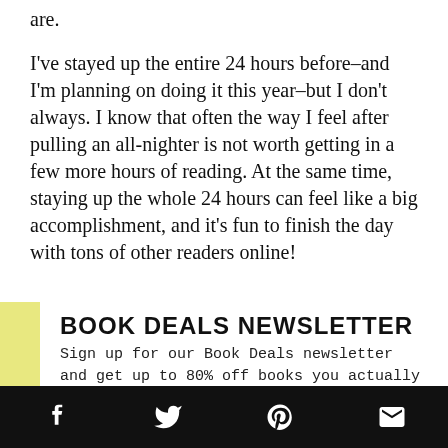are.
I've stayed up the entire 24 hours before–and I'm planning on doing it this year–but I don't always. I know that often the way I feel after pulling an all-nighter is not worth getting in a few more hours of reading. At the same time, staying up the whole 24 hours can feel like a big accomplishment, and it's fun to finish the day with tons of other readers online!
BOOK DEALS NEWSLETTER
Sign up for our Book Deals newsletter and get up to 80% off books you actually want to read.
Social share bar: Facebook, Twitter, Pinterest, Email